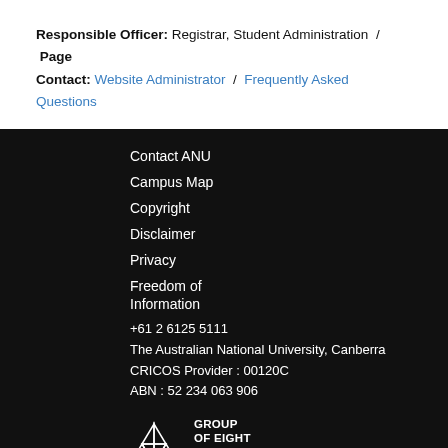Responsible Officer: Registrar, Student Administration / Page Contact: Website Administrator / Frequently Asked Questions
Contact ANU
Campus Map
Copyright
Disclaimer
Privacy
Freedom of Information
+61 2 6125 5111
The Australian National University, Canberra
CRICOS Provider : 00120C
ABN : 52 234 063 906
[Figure (logo): Group of Eight Australia Member logo — geometric diamond/star shape in white outline on black background, with text GROUP OF EIGHT AUSTRALIA MEMBER]